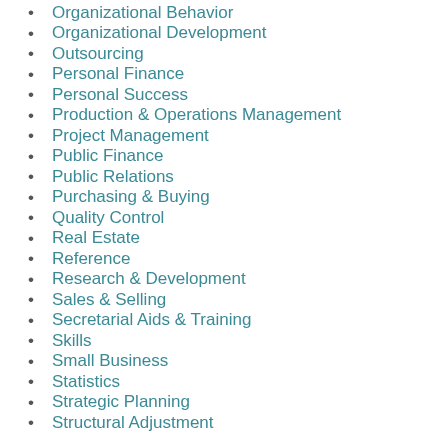Organizational Behavior
Organizational Development
Outsourcing
Personal Finance
Personal Success
Production & Operations Management
Project Management
Public Finance
Public Relations
Purchasing & Buying
Quality Control
Real Estate
Reference
Research & Development
Sales & Selling
Secretarial Aids & Training
Skills
Small Business
Statistics
Strategic Planning
Structural Adjustment